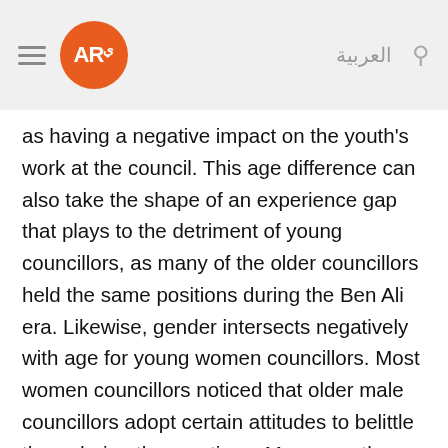AR العربية [search]
as having a negative impact on the youth's work at the council. This age difference can also take the shape of an experience gap that plays to the detriment of young councillors, as many of the older councillors held the same positions during the Ben Ali era. Likewise, gender intersects negatively with age for young women councillors. Most women councillors noticed that older male councillors adopt certain attitudes to belittle them during the meetings. Moreover, they state that men tend to take advantage of women's temporal and spatial limitations (their inability to stay out late at night or sit in men's cafés, for instance) to take decisions in their absence. Yet, alliances based on age are difficult